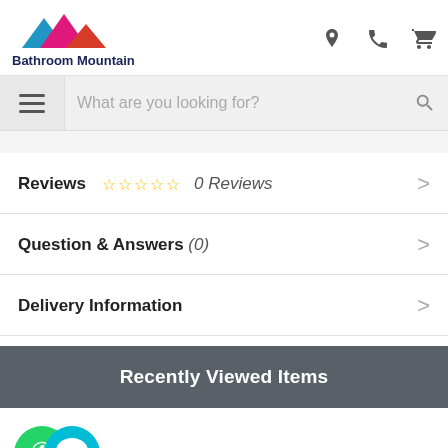[Figure (logo): Bathroom Mountain logo with colorful mountain peaks (blue, magenta, red) and text 'Bathroom Mountain' in dark navy]
Reviews ☆☆☆☆☆ 0 Reviews
Question & Answers (0)
Delivery Information
Recently Viewed Items
[Figure (illustration): Two overlapping chat bubble icons in green/teal (WhatsApp and message bubble icons)]